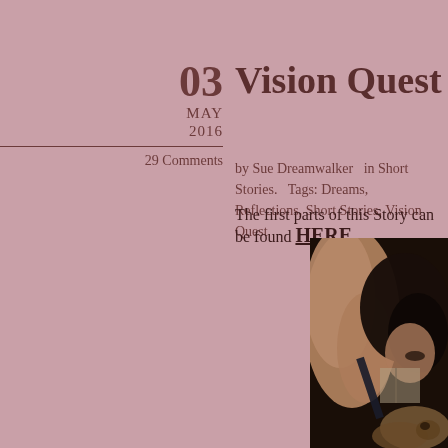Vision Quest 6~ Reflections o
by Sue Dreamwalker   in Short Stories.   Tags: Dreams, Reflections, Short Stories, Vision Quest
29 Comments
The first parts of this Story can be found HERE
[Figure (photo): A woman with dark hair leaning forward, photographed from behind/side, with a cat visible in the lower right corner. Dark moody lighting.]